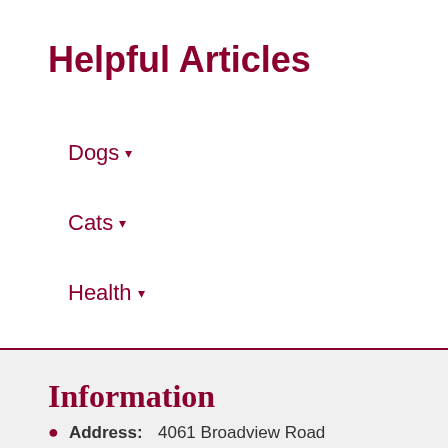Helpful Articles
Dogs ▾
Cats ▾
Health ▾
General ▾
Information
Address: 4061 Broadview Road